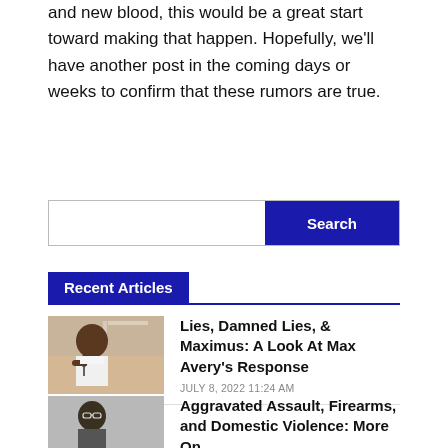and new blood, this would be a great start toward making that happen. Hopefully, we'll have another post in the coming days or weeks to confirm that these rumors are true.
[Figure (other): Search bar with a dark blue Search button on the right]
Recent Articles
[Figure (photo): Man speaking into a microphone, wearing a white shirt]
Lies, Damned Lies, & Maximus: A Look At Max Avery's Response
JULY 8, 2022 11:24 AM
[Figure (photo): Man with glasses, partial view]
Aggravated Assault, Firearms, and Domestic Violence: More On